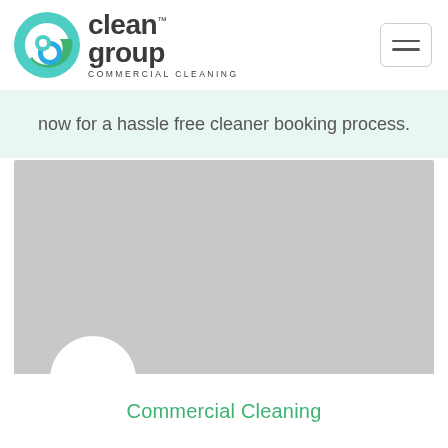[Figure (logo): Clean Group Commercial Cleaning logo with circular C icon in teal/green and text 'clean group' with 'COMMERCIAL CLEANING' subtitle]
[Figure (other): Hamburger menu button (three horizontal lines) in a rounded rectangle border]
now for a hassle free cleaner booking process.
[Figure (photo): Grey placeholder image rectangle representing a photo]
[Figure (photo): White circle avatar placeholder]
Commercial Cleaning